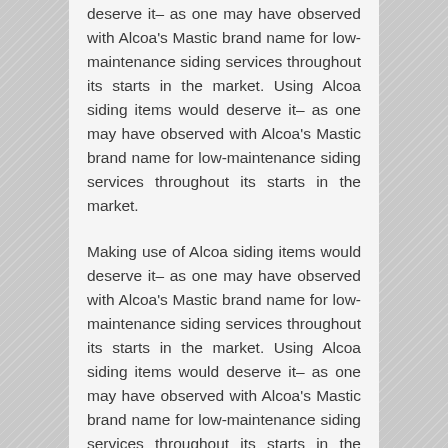deserve it– as one may have observed with Alcoa's Mastic brand name for low-maintenance siding services throughout its starts in the market. Using Alcoa siding items would deserve it– as one may have observed with Alcoa's Mastic brand name for low-maintenance siding services throughout its starts in the market.
Making use of Alcoa siding items would deserve it– as one may have observed with Alcoa's Mastic brand name for low-maintenance siding services throughout its starts in the market. Using Alcoa siding items would deserve it– as one may have observed with Alcoa's Mastic brand name for low-maintenance siding services throughout its starts in the market.
Also use Alcoa siding items would deserve it–